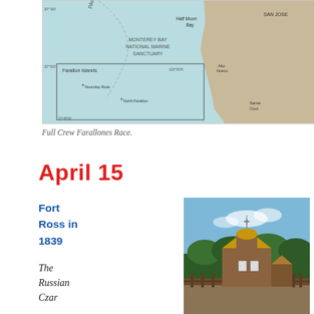[Figure (map): Nautical/geographic map showing the Pacific Ocean coastline near San Francisco, including Monterey Bay National Marine Sanctuary, Farallon Islands, Half Moon Bay, San Jose, Alto Nuevo, and Santa Cruz. Includes latitude markers at 37°30' and 37°00' and longitude markers.]
Full Crew Farallones Race.
April 15
Fort Ross in 1839
The Russian Czar
[Figure (photo): Photograph of Fort Ross showing a wooden chapel/church building with a golden dome and cross, surrounded by wooden fence structures, with dense green forest hills in the background under a blue sky.]